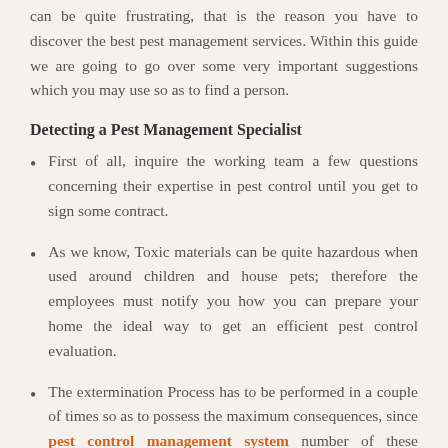can be quite frustrating, that is the reason you have to discover the best pest management services. Within this guide we are going to go over some very important suggestions which you may use so as to find a person.
Detecting a Pest Management Specialist
First of all, inquire the working team a few questions concerning their expertise in pest control until you get to sign some contract.
As we know, Toxic materials can be quite hazardous when used around children and house pets; therefore the employees must notify you how you can prepare your home the ideal way to get an efficient pest control evaluation.
The extermination Process has to be performed in a couple of times so as to possess the maximum consequences, since pest control management system number of these termites or bugs can be quite